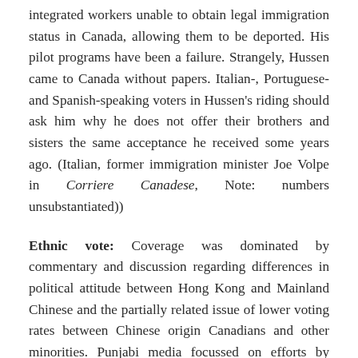integrated workers unable to obtain legal immigration status in Canada, allowing them to be deported. His pilot programs have been a failure. Strangely, Hussen came to Canada without papers. Italian-, Portuguese- and Spanish-speaking voters in Hussen's riding should ask him why he does not offer their brothers and sisters the same acceptance he received some years ago. (Italian, former immigration minister Joe Volpe in Corriere Canadese, Note: numbers unsubstantiated))
Ethnic vote: Coverage was dominated by commentary and discussion regarding differences in political attitude between Hong Kong and Mainland Chinese and the partially related issue of lower voting rates between Chinese origin Canadians and other minorities. Punjabi media focussed on efforts by Punjabis living in India to influence Canadian Punjabis to vote Liberal. The Canadian-Muslim Vote (TCMV) initiative received